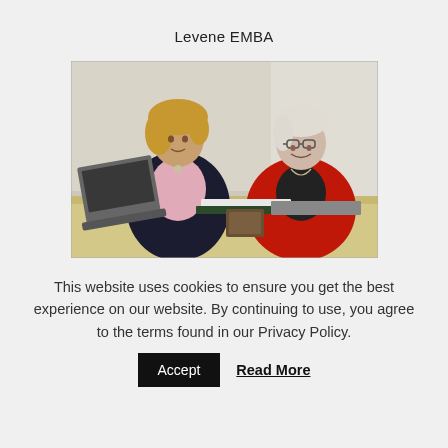Levene EMBA
[Figure (photo): Two professional women seated at a conference table. The woman on the left has blonde wavy hair and wears a dark blazer over a light pink blouse. The woman on the right has short white hair, wears glasses, and is dressed in a red blazer. A laptop is visible on the table in the foreground.]
This website uses cookies to ensure you get the best experience on our website. By continuing to use, you agree to the terms found in our Privacy Policy.
Accept   Read More